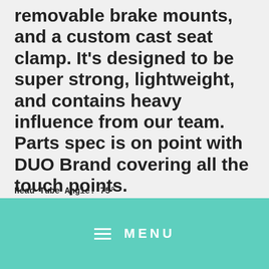removable brake mounts, and a custom cast seat clamp. It's designed to be super strong, lightweight, and contains heavy influence from our team. Parts spec is on point with DUO Brand covering all the touch points.
Frame Spec
Frame: 100% chromoly frame w/ CNC machined integrated head tube, Mid BB, removable brake mounts, top tube gusset w/ Verde logo
Top Tube Length: 21" (XL)
Chain Stay Length: 13"
Head Tube Angle: 75°
MENU